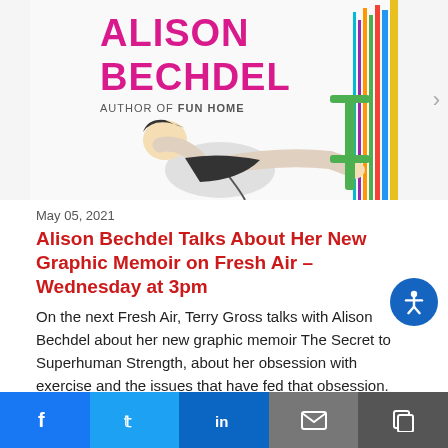[Figure (illustration): Book cover illustration for 'The Secret to Superhuman Strength' by Alison Bechdel. Shows text 'ALISON BECHDEL AUTHOR OF FUN HOME' in pink/magenta, and an illustrated figure of a person exercising with colorful vertical lines representing ropes or bars.]
May 05, 2021
Alison Bechdel Talks About Her New Graphic Memoir on Fresh Air – Wednesday at 3pm
On the next Fresh Air, Terry Gross talks with Alison Bechdel about her new graphic memoir The Secret to Superhuman Strength, about her obsession with exercise and the issues that have fed that obsession. Her graphic memoir Fun Home, about coming out and learning her father had secret gay affairs,...
May 03, 2021
Ecologist Suzanne Simard Talks About How Trees Talk
[Figure (photo): Small thumbnail photo showing trees/forest, dark brown tones.]